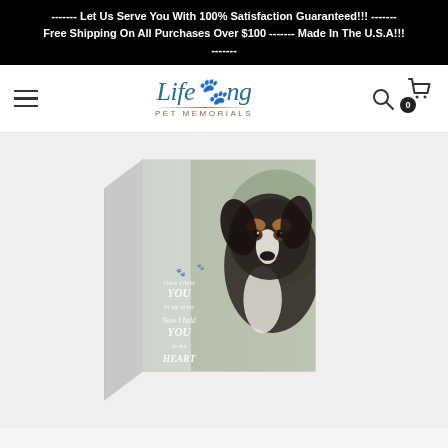------- Let Us Serve You With 100% Satisfaction Guaranteed!!! ------- Free Shipping On All Purchases Over $100 ------- Made In The U.S.A!!! -------
[Figure (logo): LifeSong Pet Memorials logo in teal cursive script with a paw print icon and brown underline]
[Figure (photo): A pet memorial box with a collie/Australian shepherd dog photo printed on the front panel. White decorative text overlaid reads: Once I held YOU in my arms Now I held YOU in my HEART]